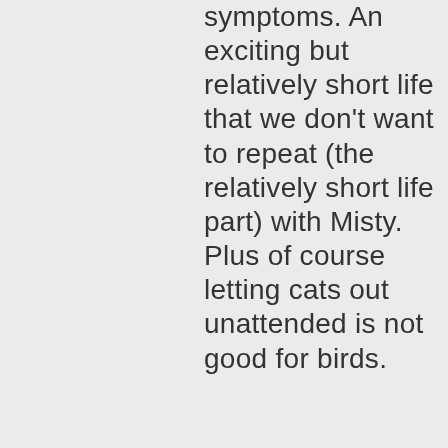symptoms. An exciting but relatively short life that we don't want to repeat (the relatively short life part) with Misty. Plus of course letting cats out unattended is not good for birds.